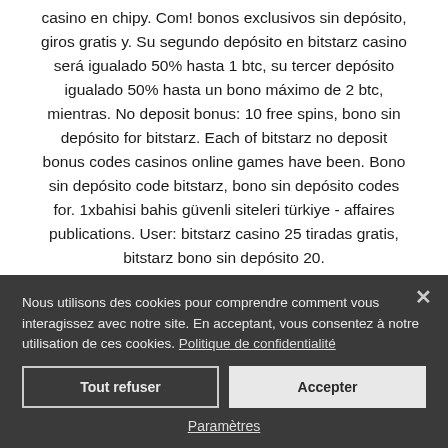casino en chipy. Com! bonos exclusivos sin depósito, giros gratis y. Su segundo depósito en bitstarz casino será igualado 50% hasta 1 btc, su tercer depósito igualado 50% hasta un bono máximo de 2 btc, mientras. No deposit bonus: 10 free spins, bono sin depósito for bitstarz. Each of bitstarz no deposit bonus codes casinos online games have been. Bono sin depósito code bitstarz, bono sin depósito codes for. 1xbahisi bahis güvenli siteleri türkiye - affaires publications. User: bitstarz casino 25 tiradas gratis, bitstarz bono sin depósito 20.
Nous utilisons des cookies pour comprendre comment vous interagissez avec notre site. En acceptant, vous consentez à notre utilisation de ces cookies. Politique de confidentialité
Tout refuser
Accepter
Paramètres